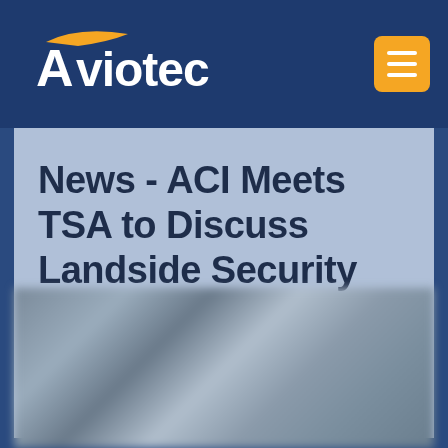Aviotec
News - ACI Meets TSA to Discuss Landside Security and UN Resolution
[Figure (photo): Blurred photograph showing people or airport security scene, used as background image below the title block]